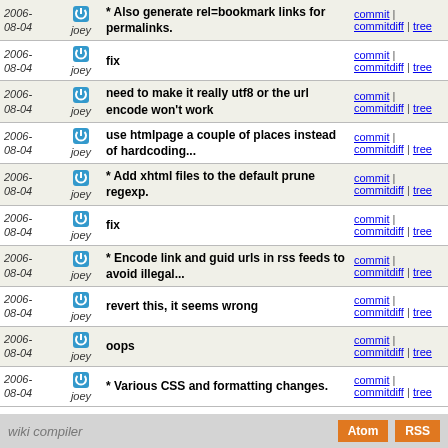| Date | Author | Message | Links |
| --- | --- | --- | --- |
| 2006-08-04 | joey | * Also generate rel=bookmark links for permalinks. | commit | commitdiff | tree |
| 2006-08-04 | joey | fix | commit | commitdiff | tree |
| 2006-08-04 | joey | need to make it really utf8 or the url encode won't work | commit | commitdiff | tree |
| 2006-08-04 | joey | use htmlpage a couple of places instead of hardcoding... | commit | commitdiff | tree |
| 2006-08-04 | joey | * Add xhtml files to the default prune regexp. | commit | commitdiff | tree |
| 2006-08-04 | joey | fix | commit | commitdiff | tree |
| 2006-08-04 | joey | * Encode link and guid urls in rss feeds to avoid illegal... | commit | commitdiff | tree |
| 2006-08-04 | joey | revert this, it seems wrong | commit | commitdiff | tree |
| 2006-08-04 | joey | oops | commit | commitdiff | tree |
| 2006-08-04 | joey | * Various CSS and formatting changes. | commit | commitdiff | tree |
next
wiki compiler  Atom RSS